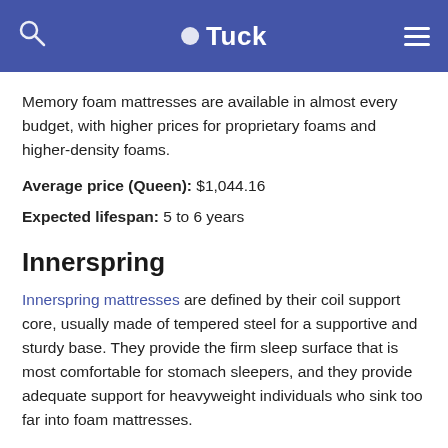Tuck
Memory foam mattresses are available in almost every budget, with higher prices for proprietary foams and higher-density foams.
Average price (Queen): $1,044.16
Expected lifespan: 5 to 6 years
Innerspring
Innerspring mattresses are defined by their coil support core, usually made of tempered steel for a supportive and sturdy base. They provide the firm sleep surface that is most comfortable for stomach sleepers, and they provide adequate support for heavyweight individuals who sink too far into foam mattresses.